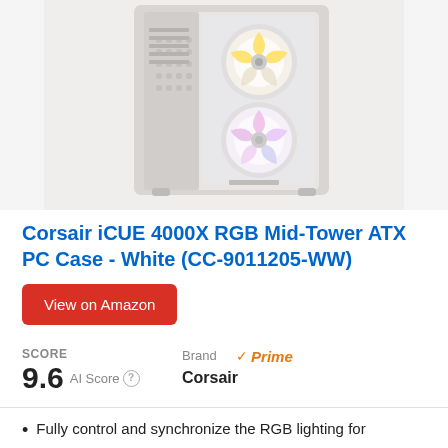[Figure (photo): White Corsair iCUE 4000X RGB Mid-Tower ATX PC Case with RGB fans visible through tempered glass panel, shown from a front-angle view against a light gray background.]
Corsair iCUE 4000X RGB Mid-Tower ATX PC Case - White (CC-9011205-WW)
View on Amazon
SCORE
9.6 AI Score
Brand
Corsair
Prime
Fully control and synchronize the RGB lighting for